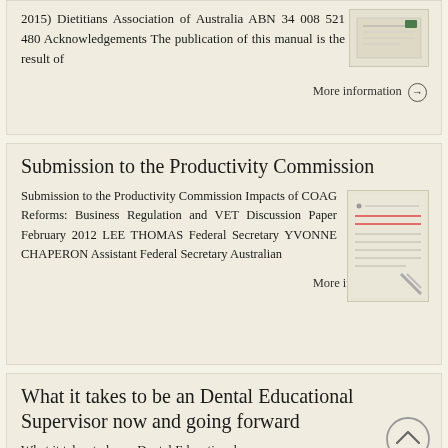2015) Dietitians Association of Australia ABN 34 008 521 480 Acknowledgements The publication of this manual is the result of
More information →
Submission to the Productivity Commission
Submission to the Productivity Commission Impacts of COAG Reforms: Business Regulation and VET Discussion Paper February 2012 LEE THOMAS Federal Secretary YVONNE CHAPERON Assistant Federal Secretary Australian
More information →
What it takes to be an Dental Educational Supervisor now and going forward
What it takes to be an Dental Educational